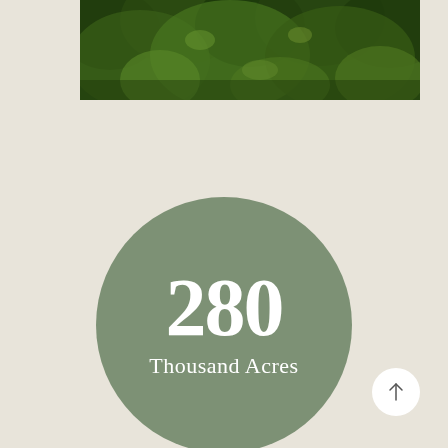[Figure (photo): Photo of dense green forest foliage, cropped to a horizontal banner at the top of the page]
[Figure (infographic): Large muted sage-green circle containing the number '280' in large white serif font and 'Thousand Acres' in smaller white text beneath it]
[Figure (other): Small white circular button with an upward arrow icon in the bottom-right corner]